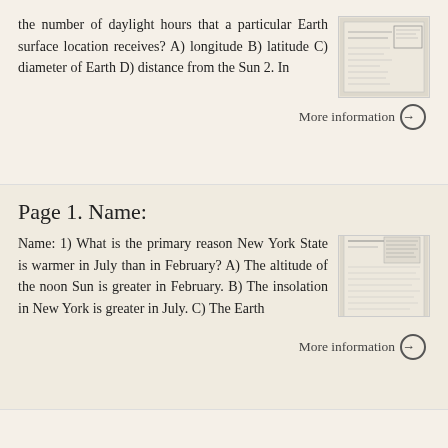the number of daylight hours that a particular Earth surface location receives? A) longitude B) latitude C) diameter of Earth D) distance from the Sun 2. In
[Figure (other): Thumbnail image of a document page with diagrams]
More information →
Page 1. Name:
Name: 1) What is the primary reason New York State is warmer in July than in February? A) The altitude of the noon Sun is greater in February. B) The insolation in New York is greater in July. C) The Earth
[Figure (other): Thumbnail image of a document page with text columns]
More information →
2. Identify the nuclear process that occurs when lighter elements in a star combine to form heavier elements, producing the